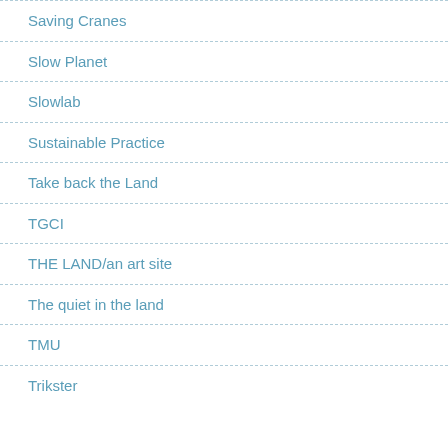Saving Cranes
Slow Planet
Slowlab
Sustainable Practice
Take back the Land
TGCI
THE LAND/an art site
The quiet in the land
TMU
Trikster